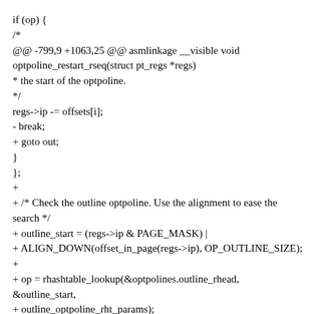if (op) {
/*
@@ -799,9 +1063,25 @@ asmlinkage __visible void optpoline_restart_rseq(struct pt_regs *regs)
* the start of the optpoline.
*/
regs->ip -= offsets[i];
- break;
+ goto out;
}
};
+
+ /* Check the outline optpoline. Use the alignment to ease the search */
+ outline_start = (regs->ip & PAGE_MASK) |
+ ALIGN_DOWN(offset_in_page(regs->ip), OP_OUTLINE_SIZE);
+
+ op = rhashtable_lookup(&optpolines.outline_rhead, &outline_start,
+ outline_optpoline_rht_params);
+
+ /*
+ * We already have performed the call and we don't want to mess